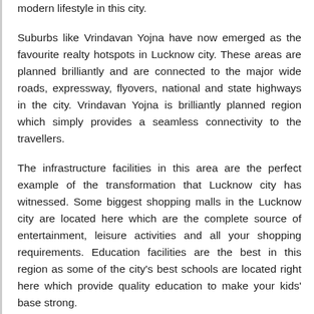modern lifestyle in this city.
Suburbs like Vrindavan Yojna have now emerged as the favourite realty hotspots in Lucknow city. These areas are planned brilliantly and are connected to the major wide roads, expressway, flyovers, national and state highways in the city. Vrindavan Yojna is brilliantly planned region which simply provides a seamless connectivity to the travellers.
The infrastructure facilities in this area are the perfect example of the transformation that Lucknow city has witnessed. Some biggest shopping malls in the Lucknow city are located here which are the complete source of entertainment, leisure activities and all your shopping requirements. Education facilities are the best in this region as some of the city's best schools are located right here which provide quality education to make your kids' base strong.